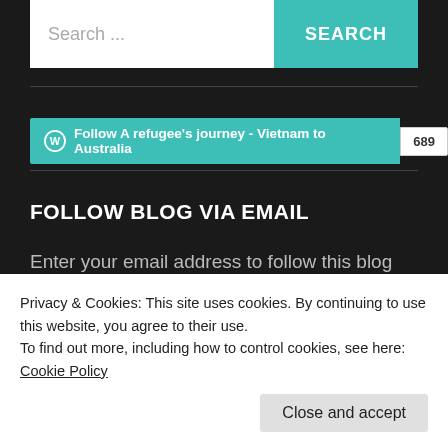[Figure (screenshot): Search bar with text 'Search ...' and a teal 'SEARCH' button]
[Figure (screenshot): WordPress follow button for 'A refugee's journey - Vietnam to Australia' with follower count 689]
FOLLOW BLOG VIA EMAIL
Enter your email address to follow this blog and receive notifications of new posts by email.
Privacy & Cookies: This site uses cookies. By continuing to use this website, you agree to their use.
To find out more, including how to control cookies, see here: Cookie Policy
Close and accept
Join 838 other followers